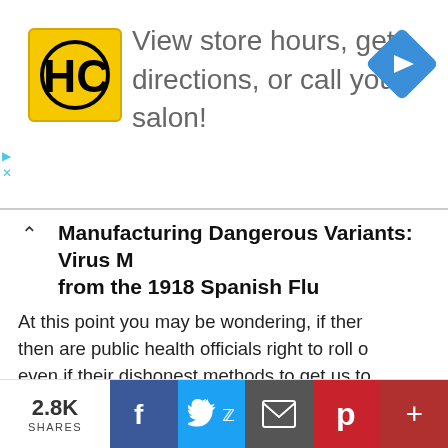[Figure (screenshot): Advertisement banner: HC logo (yellow square with HC text), text 'View store hours, get directions, or call your salon!', blue navigation diamond icon on right, small left/close arrows on left side]
Manufacturing Dangerous Variants: Virus [cut off] from the 1918 Spanish Flu
At this point you may be wondering, if ther then are public health officials right to roll e even if their dishonest methods to get us to regimen of booster shots to keep us safe fr term immunity?
The short answer is no.
[Figure (screenshot): Social sharing footer bar: 2.8K SHARES label, Facebook (blue), Twitter (light blue), Email (dark gray), Pinterest (red), Plus/more (dark red) buttons]